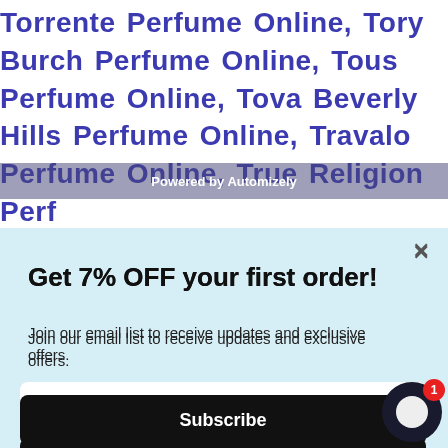Torrente Perfume Online, Tory Burch Perfume Online, Tous Perfume Online, Tova Beverly Hills Perfume Online, Travalo Perfume Online, True Religion Perfume Online, Trussardi Perf...
Powered by Automizely
Get 7% OFF your first order!
Join our email list to receive updates and exclusive offers.
Email address*
Subscribe
No Thanks